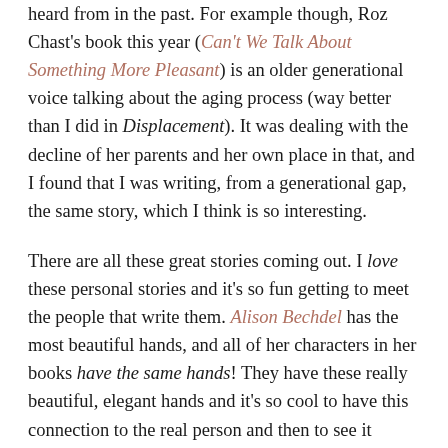heard from in the past. For example though, Roz Chast's book this year (Can't We Talk About Something More Pleasant) is an older generational voice talking about the aging process (way better than I did in Displacement). It was dealing with the decline of her parents and her own place in that, and I found that I was writing, from a generational gap, the same story, which I think is so interesting.
There are all these great stories coming out. I love these personal stories and it's so fun getting to meet the people that write them. Alison Bechdel has the most beautiful hands, and all of her characters in her books have the same hands! They have these really beautiful, elegant hands and it's so cool to have this connection to the real person and then to see it reflected in their work in such a visual way. I've known Liz Prince for years and know the exact shirt she's drawing herself in. Jess